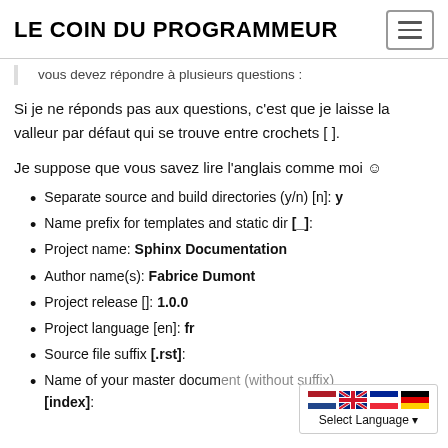LE COIN DU PROGRAMMEUR
vous devez répondre à plusieurs questions :
Si je ne réponds pas aux questions, c'est que je laisse la valleur par défaut qui se trouve entre crochets [ ].
Je suppose que vous savez lire l'anglais comme moi ☺
Separate source and build directories (y/n) [n]: y
Name prefix for templates and static dir [_]:
Project name: Sphinx Documentation
Author name(s): Fabrice Dumont
Project release []: 1.0.0
Project language [en]: fr
Source file suffix [.rst]:
Name of your master document (without suffix) [index]: